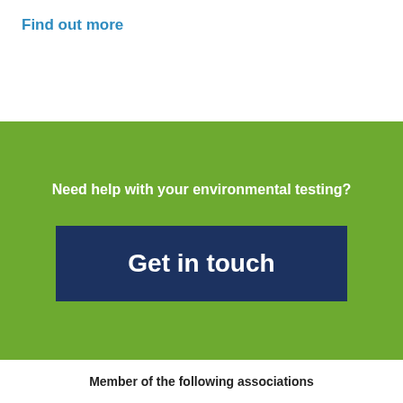Find out more
Need help with your environmental testing?
Get in touch
Member of the following associations